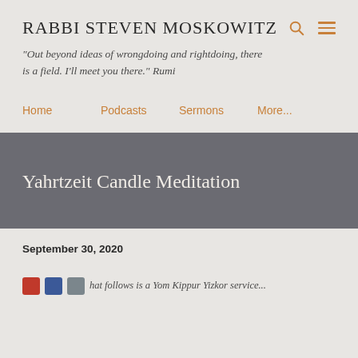RABBI STEVEN MOSKOWITZ
"Out beyond ideas of wrongdoing and rightdoing, there is a field. I'll meet you there." Rumi
Home
Podcasts
Sermons
More...
Yahrtzeit Candle Meditation
September 30, 2020
What follows is a Yom Kippur Yizkor service...